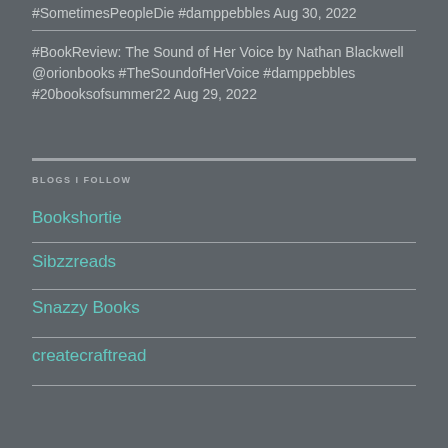#SometimesPeopleDie #damppebbles Aug 30, 2022
#BookReview: The Sound of Her Voice by Nathan Blackwell @orionbooks #TheSoundofHerVoice #damppebbles #20booksofsummer22 Aug 29, 2022
BLOGS I FOLLOW
Bookshortie
Sibzzreads
Snazzy Books
createcraftread